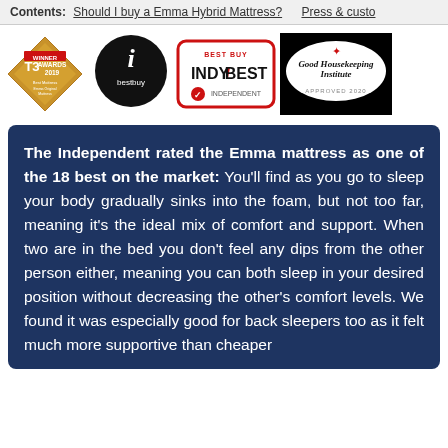Contents: Should I buy a Emma Hybrid Mattress? Press & custo
[Figure (logo): Row of award logos: T3 Winner Awards 2019 Best Mattress Emma Original Mattress, i bestbuy, INDY/BEST Independent Best Buy, Good Housekeeping Institute Approved 2020]
The Independent rated the Emma mattress as one of the 18 best on the market: You'll find as you go to sleep your body gradually sinks into the foam, but not too far, meaning it's the ideal mix of comfort and support. When two are in the bed you don't feel any dips from the other person either, meaning you can both sleep in your desired position without decreasing the other's comfort levels. We found it was especially good for back sleepers too as it felt much more supportive than cheaper